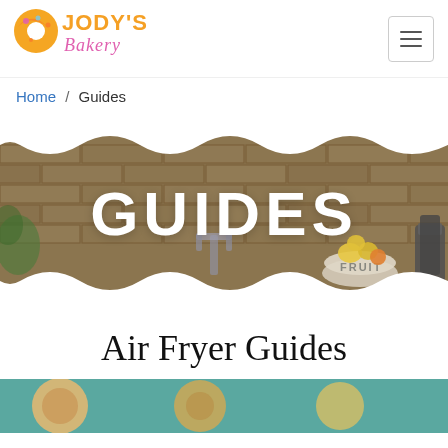[Figure (logo): Jody's Bakery logo with a donut graphic and stylized text in orange and pink]
Jody's Bakery — navigation header with hamburger menu icon
Home / Guides
[Figure (photo): Kitchen background image with brick tile wall, kitchen faucet, fruit bowl, and blender; overlaid with white wavy edge masks and bold white text GUIDES in the center]
Air Fryer Guides
[Figure (photo): Partial thumbnail strip at the bottom showing a teal/green background with food items]